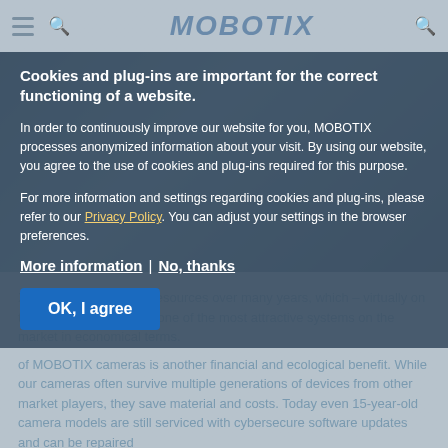MOBOTIX
Cookies and plug-ins are important for the correct functioning of a website.
In order to continuously improve our website for you, MOBOTIX processes anonymized information about your visit. By using our website, you agree to the use of cookies and plug-ins required for this purpose.
For more information and settings regarding cookies and plug-ins, please refer to our Privacy Policy. You can adjust your settings in the browser preferences.
More information | No, thanks
OK, I agree
X saves energy and IT resources over many years, which – virtually on the side – also makes it one of the most attractive systems on the market in economical terms.
of MOBOTIX cameras is another financial and ecological benefit. While our cameras often survive multiple generations of devices from other market players, they save material and costs. Today even 15-year-old camera models are still serviced with cybersecure software updates and can be repaired